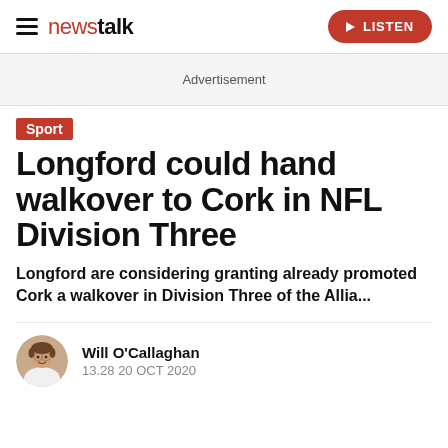newstalk | LISTEN
Advertisement
Sport
Longford could hand walkover to Cork in NFL Division Three
Longford are considering granting already promoted Cork a walkover in Division Three of the Allia...
Will O'Callaghan
13.28 20 OCT 2020